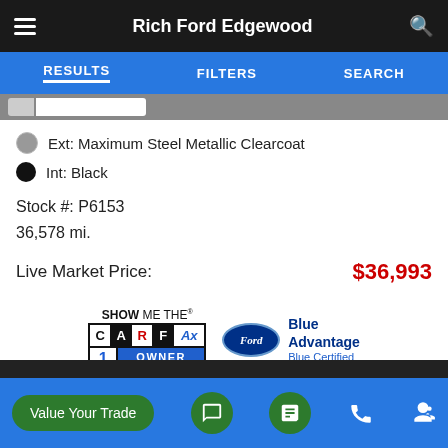Rich Ford Edgewood
RESULTS   FILTERS   SEARCH
Ext: Maximum Steel Metallic Clearcoat
Int: Black
Stock #: P6153
36,578 mi.
Live Market Price:  $36,993
[Figure (logo): Carfax Show Me The Carfax 1 Owner logo and Ford Blue Advantage Blue Certified badge]
Value Your Trade